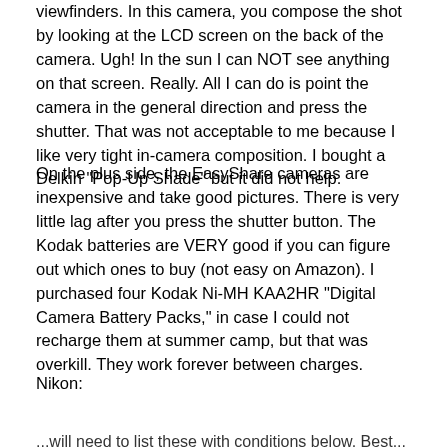viewfinders. In this camera, you compose the shot by looking at the LCD screen on the back of the camera. Ugh! In the sun I can NOT see anything on that screen. Really. All I can do is point the camera in the general direction and press the shutter. That was not acceptable to me because I like very tight in-camera composition. I bought a Delkin "Pop-Up Shade" but it did not help.
On the plus side, the EasyShare cameras are inexpensive and take good pictures. There is very little lag after you press the shutter button. The Kodak batteries are VERY good if you can figure out which ones to buy (not easy on Amazon). I purchased four Kodak Ni-MH KAA2HR "Digital Camera Battery Packs," in case I could not recharge them at summer camp, but that was overkill. They work forever between charges.
Nikon:
...will need to list these with conditions below. Best...